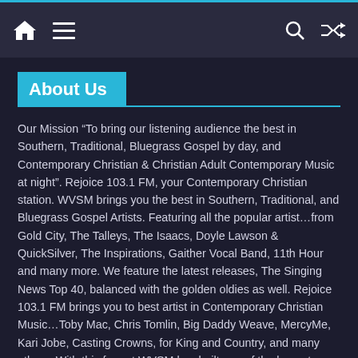Navigation bar with home, menu, search, and shuffle icons
About Us
Our Mission “To bring our listening audience the best in Southern, Traditional, Bluegrass Gospel by day, and Contemporary Christian & Christian Adult Contemporary Music at night”. Rejoice 103.1 FM, your Contemporary Christian station. WVSM brings you the best in Southern, Traditional, and Bluegrass Gospel Artists. Featuring all the popular artist…from Gold City, The Talleys, The Isaacs, Doyle Lawson & QuickSilver, The Inspirations, Gaither Vocal Band, 11th Hour and many more. We feature the latest releases, The Singing News Top 40, balanced with the golden oldies as well. Rejoice 103.1 FM brings you to best artist in Contemporary Christian Music…Toby Mac, Chris Tomlin, Big Daddy Weave, MercyMe, Kari Jobe, Casting Crowns, for King and Country, and many others. With this format WVSM has built one of the largest listening audiences in Dekalb County and we thank our listeners for your support and listening. We hope you attend church this Sunday. If you are unable to